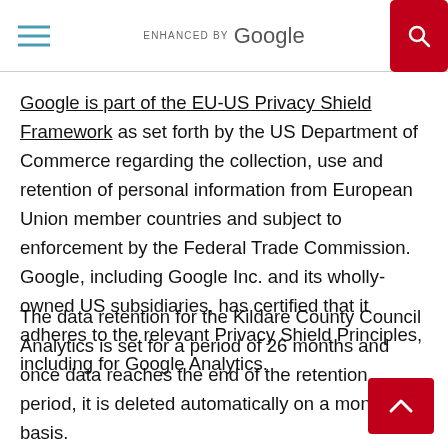ENHANCED BY Google
Google is part of the EU-US Privacy Shield Framework as set forth by the US Department of Commerce regarding the collection, use and retention of personal information from European Union member countries and subject to enforcement by the Federal Trade Commission. Google, including Google Inc. and its wholly-owned US subsidiaries, has certified that it adheres to the relevant Privacy Shield Principles, including for Google Analytics.
The data retention for the Kildare County Council Analytics is set for a period of 26 months and once data reaches the end of the retention period, it is deleted automatically on a monthly basis.